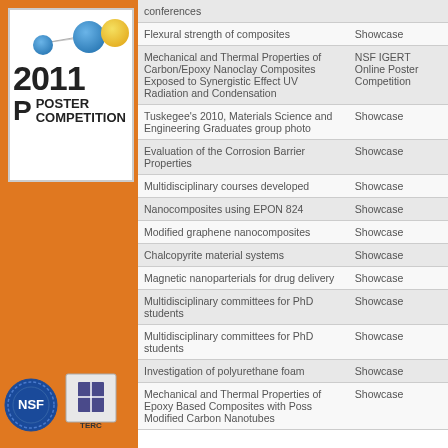[Figure (logo): 2011 Poster Competition logo with colored circles and network lines]
| Title | Type |
| --- | --- |
| conferences |  |
| Flexural strength of composites | Showcase |
| Mechanical and Thermal Properties of Carbon/Epoxy Nanoclay Composites Exposed to Synergistic Effect UV Radiation and Condensation | NSF IGERT Online Poster Competition |
| Tuskegee's 2010, Materials Science and Engineering Graduates group photo | Showcase |
| Evaluation of the Corrosion Barrier Properties | Showcase |
| Multidisciplinary courses developed | Showcase |
| Nanocomposites using EPON 824 | Showcase |
| Modified graphene nanocomposites | Showcase |
| Chalcopyrite material systems | Showcase |
| Magnetic nanoparterials for drug delivery | Showcase |
| Multidisciplinary committees for PhD students | Showcase |
| Multidisciplinary committees for PhD students | Showcase |
| Investigation of polyurethane foam | Showcase |
| Mechanical and Thermal Properties of Epoxy Based Composites with Poss Modified Carbon Nanotubes | Showcase |
[Figure (logo): NSF logo]
[Figure (logo): TERC logo]